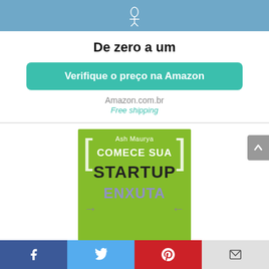[Figure (logo): Top banner with light blue background and small logo/icon centered]
De zero a um
Verifique o preço na Amazon
Amazon.com.br
Free shipping
[Figure (photo): Book cover for 'Comece sua Startup Enxuta' by Ash Maurya on green background with large text and bracket design]
Facebook | Twitter | Pinterest | Email